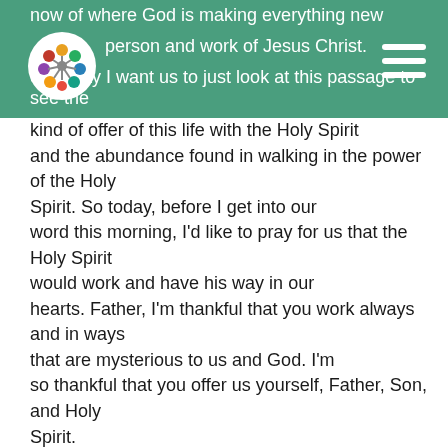now of where God is making everything new in the person and work of Jesus Christ. So today I want us to just look at this passage to see the
kind of offer of this life with the Holy Spirit and the abundance found in walking in the power of the Holy Spirit. So today, before I get into our word this morning, I'd like to pray for us that the Holy Spirit would work and have his way in our hearts. Father, I'm thankful that you work always and in ways that are mysterious to us and God. I'm so thankful that you offer us yourself, Father, Son, and Holy Spirit. You work in our lives in the details and the mundane and the suffering in the Holy Spirit. I ask that you would in this sermon in these moments, would you help your word root into our hearts? Would you help anything that's not from you to just blow away like chaff in Jesus Christ or Holy Spirit? Would you